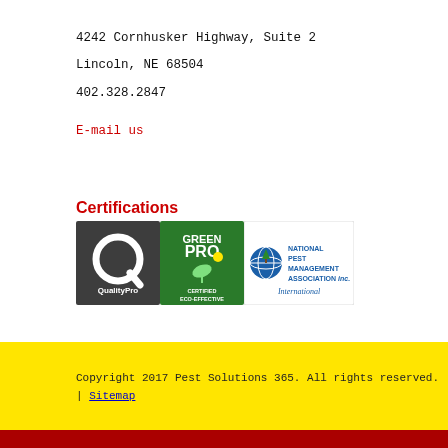4242 Cornhusker Highway, Suite 2
Lincoln, NE 68504
402.328.2847
E-mail us
Certifications
[Figure (logo): Three certification logos: QualityPro (dark grey with Q symbol), GreenPro Certified Eco-Effective (green badge), and National Pest Management Association inc. International (blue and white logo)]
Copyright 2017 Pest Solutions 365. All rights reserved. | Sitemap